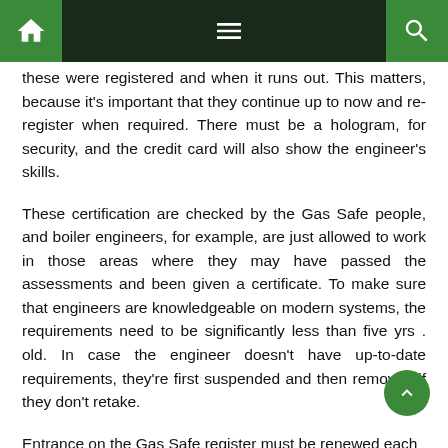Navigation bar with home, menu, and search icons
these were registered and when it runs out. This matters, because it's important that they continue up to now and re-register when required. There must be a hologram, for security, and the credit card will also show the engineer's skills.
These certification are checked by the Gas Safe people, and boiler engineers, for example, are just allowed to work in those areas where they may have passed the assessments and been given a certificate. To make sure that engineers are knowledgeable on modern systems, the requirements need to be significantly less than five yrs . old. In case the engineer doesn't have up-to-date requirements, they're first suspended and then removed if they don't retake.
Entrance on the Gas Safe register must be renewed each